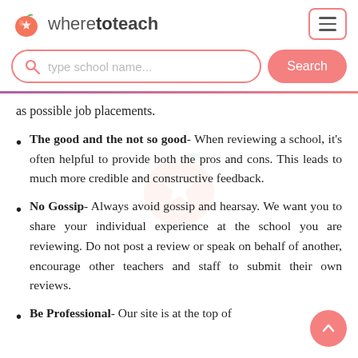wheretoteach — navigation header with logo and hamburger menu
[Figure (screenshot): Search bar with pink border, magnifying glass icon, placeholder text 'type school name...', and pink Search button]
as possible job placements.
The good and the not so good- When reviewing a school, it's often helpful to provide both the pros and cons. This leads to much more credible and constructive feedback.
No Gossip- Always avoid gossip and hearsay. We want you to share your individual experience at the school you are reviewing. Do not post a review or speak on behalf of another, encourage other teachers and staff to submit their own reviews.
Be Professional- Our site is at the top of...